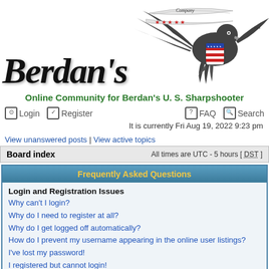[Figure (logo): Berdan's website header with eagle emblem, decorative ribbon banners, and old-English style 'Berdan's' text logo]
Online Community for Berdan's U. S. Sharpshooter
Login   Register   FAQ   Search
It is currently Fri Aug 19, 2022 9:23 pm
View unanswered posts | View active topics
Board index   All times are UTC - 5 hours [ DST ]
Frequently Asked Questions
Login and Registration Issues
Why can't I login?
Why do I need to register at all?
Why do I get logged off automatically?
How do I prevent my username appearing in the online user listings?
I've lost my password!
I registered but cannot login!
I registered in the past but cannot login any more?!
What is COPPA?
Why can't I register?